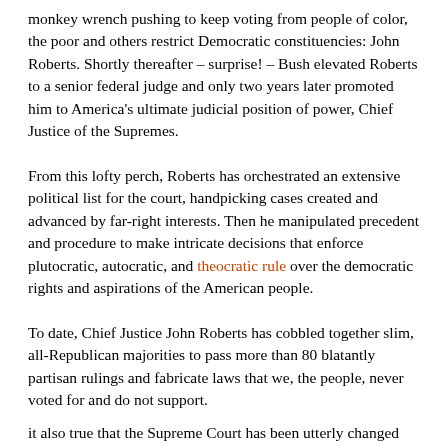monkey wrench pushing to keep voting from people of color, the poor and others restrict Democratic constituencies: John Roberts. Shortly thereafter – surprise! – Bush elevated Roberts to a senior federal judge and only two years later promoted him to America's ultimate judicial position of power, Chief Justice of the Supremes.
From this lofty perch, Roberts has orchestrated an extensive political list for the court, handpicking cases created and advanced by far-right interests. Then he manipulated precedent and procedure to make intricate decisions that enforce plutocratic, autocratic, and theocratic rule over the democratic rights and aspirations of the American people.
To date, Chief Justice John Roberts has cobbled together slim, all-Republican majorities to pass more than 80 blatantly partisan rulings and fabricate laws that we, the people, never voted for and do not support.
it also true that the Supreme Court has been utterly changed